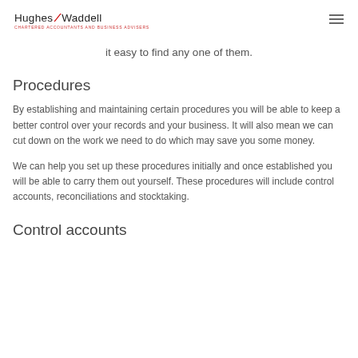Hughes Waddell — CHARTERED ACCOUNTANTS AND BUSINESS ADVISERS
it easy to find any one of them.
Procedures
By establishing and maintaining certain procedures you will be able to keep a better control over your records and your business. It will also mean we can cut down on the work we need to do which may save you some money.
We can help you set up these procedures initially and once established you will be able to carry them out yourself. These procedures will include control accounts, reconciliations and stocktaking.
Control accounts